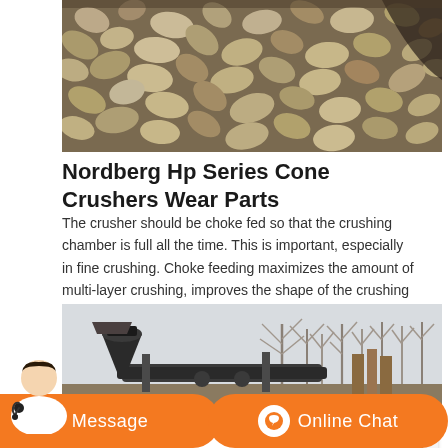[Figure (photo): Close-up photo of crushed stone aggregate material, brown/grey gravel filling the frame.]
Nordberg Hp Series Cone Crushers Wear Parts
The crusher should be choke fed so that the crushing chamber is full all the time. This is important, especially in fine crushing. Choke feeding maximizes the amount of multi-layer crushing, improves the shape of the crushing cavity as it wears and improves the crushing efficiency. Choke feed level for an HP cone crusher is 300 mm or more
[Figure (photo): Outdoor photo of industrial crushing equipment and conveyor machinery with bare winter trees in the background.]
[Figure (other): Orange chat bar at bottom with Message button and Online Chat button, and a customer service person avatar on the left.]